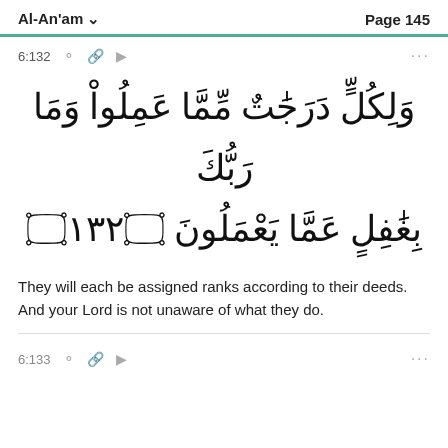Al-An'am   Page 145
6:132
وَلِكُلٍّ دَرَجَٰتٌ مِّمَّا عَمِلُواْ وَمَا رَبُّكَ بِغَٰفِلٍ عَمَّا يَعْمَلُونَ ١٣٢
They will each be assigned ranks according to their deeds. And your Lord is not unaware of what they do.
6:133